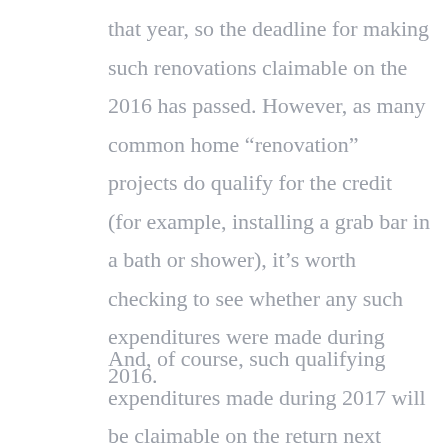that year, so the deadline for making such renovations claimable on the 2016 has passed. However, as many common home “renovation” projects do qualify for the credit (for example, installing a grab bar in a bath or shower), it’s worth checking to see whether any such expenditures were made during 2016.
And, of course, such qualifying expenditures made during 2017 will be claimable on the return next spring. More information on the